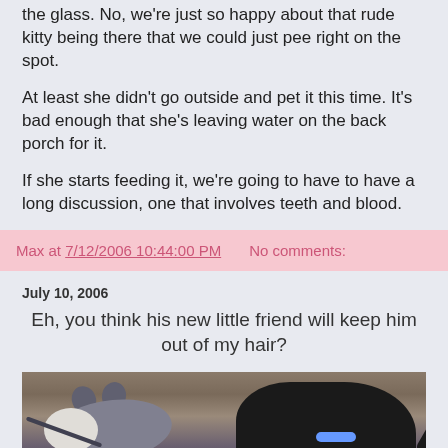the glass. No, we're just so happy about that rude kitty being there that we could just pee right on the spot.
At least she didn't go outside and pet it this time. It's bad enough that she's leaving water on the back porch for it.
If she starts feeding it, we're going to have to have a long discussion, one that involves teeth and blood.
Max at 7/12/2006 10:44:00 PM    No comments:
July 10, 2006
Eh, you think his new little friend will keep him out of my hair?
[Figure (photo): A black cat with a blue collar next to a gray stuffed mouse toy on a wooden floor]